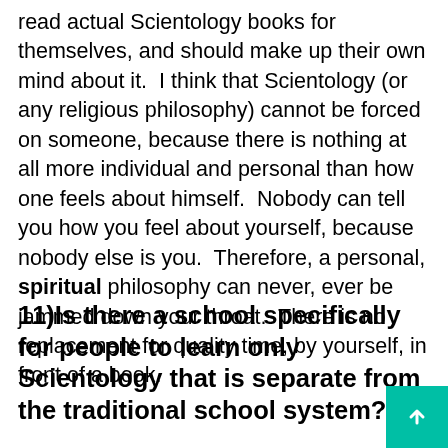read actual Scientology books for themselves, and should make up their own mind about it.  I think that Scientology (or any religious philosophy) cannot be forced on someone, because there is nothing at all more individual and personal than how one feels about himself.  Nobody can tell you how you feel about yourself, because nobody else is you.  Therefore, a personal, spiritual philosophy can never, ever be jammed down your throat.  There is no replacement for quality time, by yourself, in front of a book.
11)Is there a school specifically for people to learn only Scientology that is separate from the traditional school system?